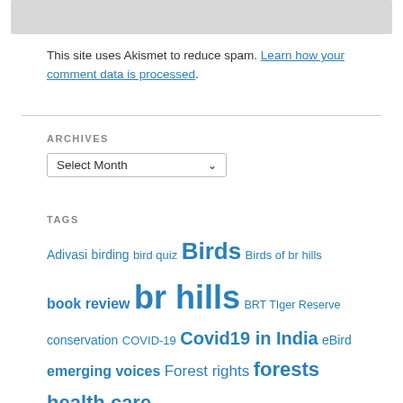[Figure (other): Gray rectangular box at top of page, partial screenshot of a form or input field]
This site uses Akismet to reduce spam. Learn how your comment data is processed.
ARCHIVES
[Figure (screenshot): Dropdown select box labeled 'Select Month']
TAGS
Adivasi birding bird quiz Birds Birds of br hills book review br hills BRT TIger Reserve conservation COVID-19 Covid19 in India eBird emerging voices Forest rights forests health care Health equity health policy health policy and systems research india